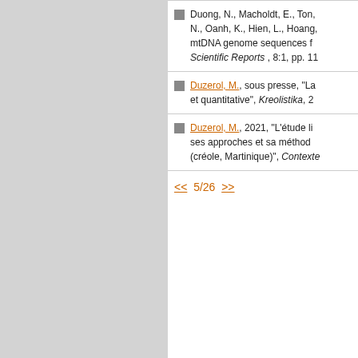Duong, N., Macholdt, E., Ton, N., Oanh, K., Hien, L., Hoang, mtDNA genome sequences f Scientific Reports, 8:1, pp. 11
Duzerol, M., sous presse, "La et quantitative", Kreolistika, 2
Duzerol, M., 2021, "L'étude li ses approches et sa méthod (créole, Martinique)", Contexte
<< 5/26 >>
RESEARCH CENTER | RESEARCH | PARTNERS | PUBLI...